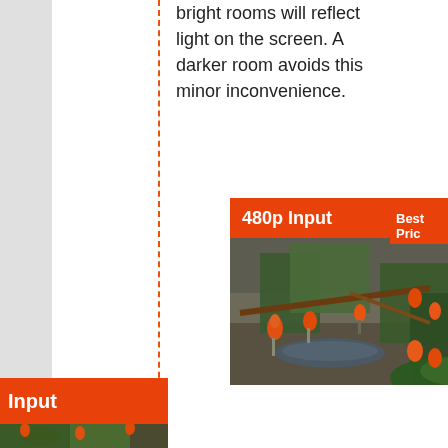bright rooms will reflect light on the screen. A darker room avoids this minor inconvenience.
[Figure (photo): Photo labeled '480p Input' showing flamingos (orange birds) among rocks, water, and tropical plants in an indoor setting]
[Figure (photo): Partial photo at bottom left labeled 'Input' showing similar flamingos among green tropical plants]